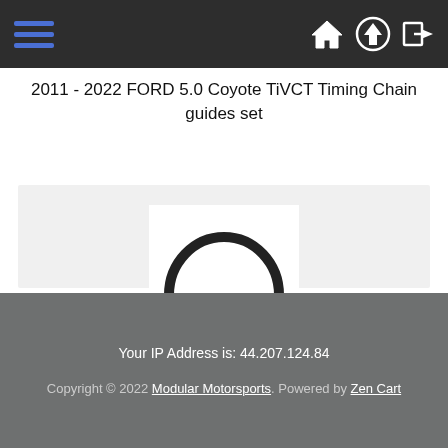2011 - 2022 FORD 5.0 Coyote TiVCT Timing Chain guides set
[Figure (illustration): O-ring / gasket shown as a black circular ring on white background]
Water Pump O ring / Gasket - All Ford 4.6 , 5.4 , & 5.0 Coyote
Your IP Address is: 44.207.124.84
Copyright © 2022 Modular Motorsports. Powered by Zen Cart